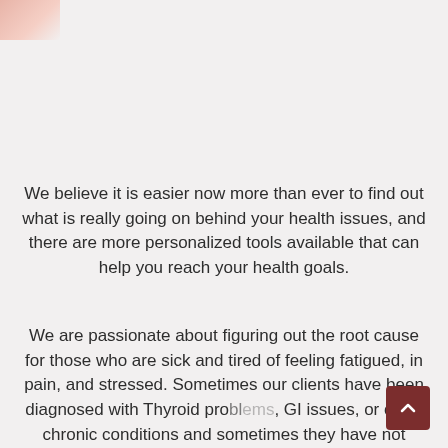[Figure (photo): Partial photo of a person in the top-left corner, showing skin tones in pink/peach colors.]
We believe it is easier now more than ever to find out what is really going on behind your health issues, and there are more personalized tools available that can help you reach your health goals.
We are passionate about figuring out the root cause for those who are sick and tired of feeling fatigued, in pain, and stressed. Sometimes our clients have been diagnosed with Thyroid problems, GI issues, or other chronic conditions and sometimes they have not